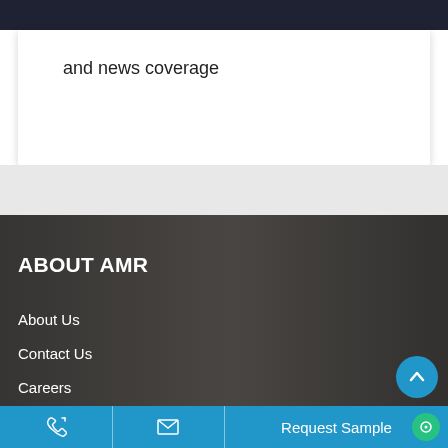and news coverage
ABOUT AMR
About Us
Contact Us
Careers
Meet the Team
Articles
Request Sample